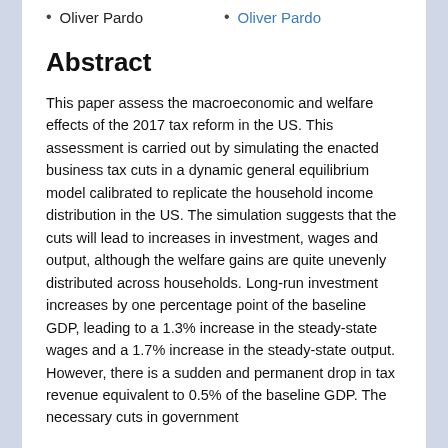Oliver Pardo
Oliver Pardo
Abstract
This paper assess the macroeconomic and welfare effects of the 2017 tax reform in the US. This assessment is carried out by simulating the enacted business tax cuts in a dynamic general equilibrium model calibrated to replicate the household income distribution in the US. The simulation suggests that the cuts will lead to increases in investment, wages and output, although the welfare gains are quite unevenly distributed across households. Long-run investment increases by one percentage point of the baseline GDP, leading to a 1.3% increase in the steady-state wages and a 1.7% increase in the steady-state output. However, there is a sudden and permanent drop in tax revenue equivalent to 0.5% of the baseline GDP. The necessary cuts in government